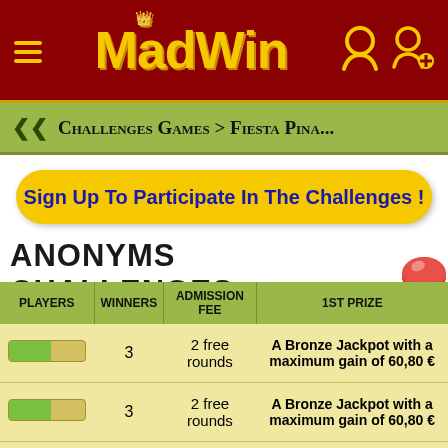[Figure (logo): MadWin logo with crown, hamburger menu, and user icons on dark red header background]
Challenges Games > Fiesta Pina...
Sign Up To Participate In The Challenges !
ANONYMS CHALLENGES
| PLAYERS | WINNERS | ADMISSION FEE | 1ST PRIZE |
| --- | --- | --- | --- |
| [progress bar] | 3 | 2 free rounds | A Bronze Jackpot with a maximum gain of 60,80 € |
| [progress bar] | 3 | 2 free rounds | A Bronze Jackpot with a maximum gain of 60,80 € |
| [progress bar] | 3 | 2 free rounds | A Bronze Jackpot with a maximum gain of 60,80 € |